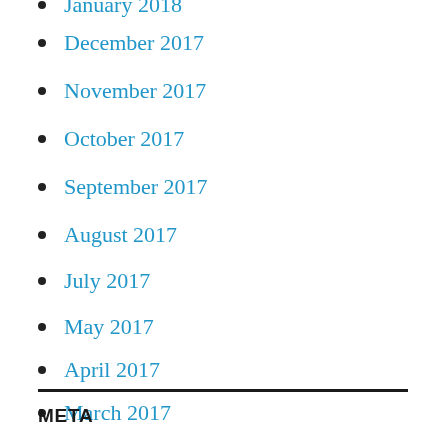January 2018
December 2017
November 2017
October 2017
September 2017
August 2017
July 2017
May 2017
April 2017
March 2017
February 2017
December 2016
META